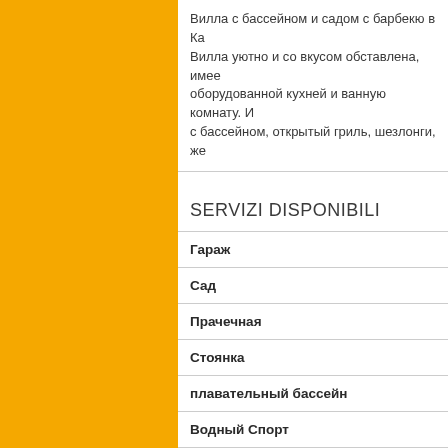Вилла с бассейном и садом с барбекю в Ка... Вилла уютно и со вкусом обставлена, имее... оборудованной кухней и ванную комнату. И... с бассейном, открытый гриль, шезлонги, же...
SERVIZI DISPONIBILI
Гараж
Сад
Прачечная
Стоянка
плавательный бассейн
Водный Спорт
Курорты